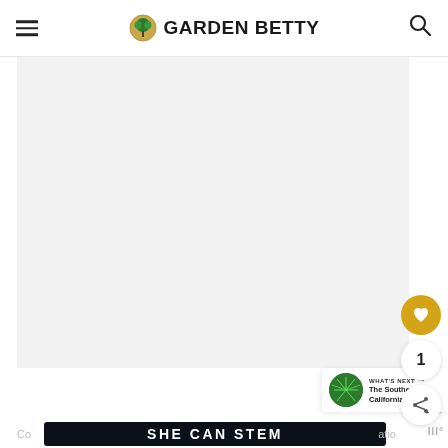GARDEN BETTY
[Figure (photo): Large hero image area with light gray background, mostly empty/white space below the navigation bar]
[Figure (illustration): Golden circular like/heart button with heart icon, count of 1, and share button]
[Figure (infographic): What's Next panel with green circular thumbnail and text: The Southern California...]
[Figure (screenshot): Ad banner with dark background and bold white text: SHE CAN STEM]